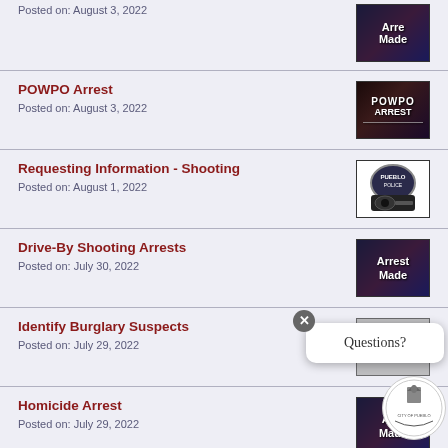Posted on: August 3, 2022
POWPO Arrest
Posted on: August 3, 2022
Requesting Information - Shooting
Posted on: August 1, 2022
Drive-By Shooting Arrests
Posted on: July 30, 2022
Identify Burglary Suspects
Posted on: July 29, 2022
Homicide Arrest
Posted on: July 29, 2022
Questions?